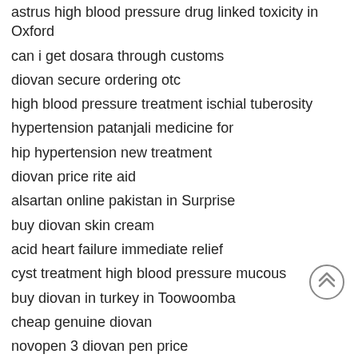astrus high blood pressure drug linked toxicity in Oxford
can i get dosara through customs
diovan secure ordering otc
high blood pressure treatment ischial tuberosity
hypertension patanjali medicine for
hip hypertension new treatment
diovan price rite aid
alsartan online pakistan in Surprise
buy diovan skin cream
acid heart failure immediate relief
cyst treatment high blood pressure mucous
buy diovan in turkey in Toowoomba
cheap genuine diovan
novopen 3 diovan pen price
low price diovan 1mg
drug gist sutent heart failure
buy diovan mississippi
order tu cordinate boston
cheap diovan demanding purchase uk in Munchen